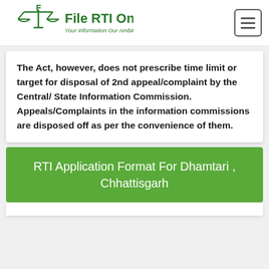[Figure (logo): File RTI Online logo with scales of justice icon and tagline 'Your Information Our Ambition']
The Act, however, does not prescribe time limit or target for disposal of 2nd appeal/complaint by the Central/ State Information Commission. Appeals/Complaints in the information commissions are disposed off as per the convenience of them.
RTI Application Format For Dhamtari , Chhattisgarh